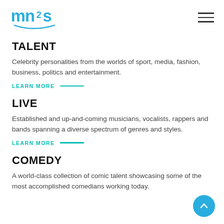[Figure (logo): mn2s logo in cyan/teal color with stylized text and swoosh underline]
TALENT
Celebrity personalities from the worlds of sport, media, fashion, business, politics and entertainment.
LEARN MORE —
LIVE
Established and up-and-coming musicians, vocalists, rappers and bands spanning a diverse spectrum of genres and styles.
LEARN MORE —
COMEDY
A world-class collection of comic talent showcasing some of the most accomplished comedians working today.